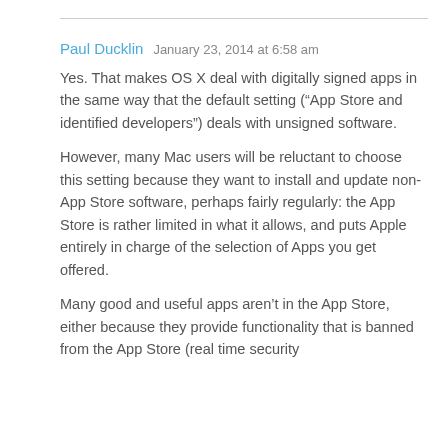Paul Ducklin   January 23, 2014 at 6:58 am
Yes. That makes OS X deal with digitally signed apps in the same way that the default setting (“App Store and identified developers”) deals with unsigned software.
However, many Mac users will be reluctant to choose this setting because they want to install and update non-App Store software, perhaps fairly regularly: the App Store is rather limited in what it allows, and puts Apple entirely in charge of the selection of Apps you get offered.
Many good and useful apps aren’t in the App Store, either because they provide functionality that is banned from the App Store (real time security